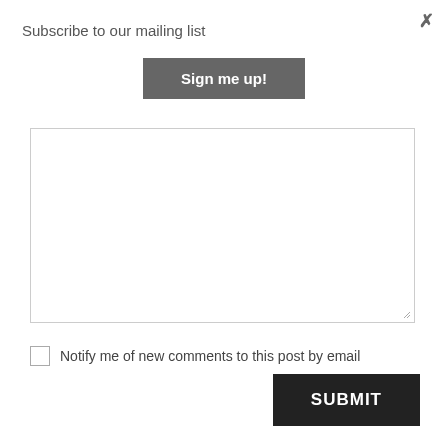×
Subscribe to our mailing list
[Figure (other): Sign me up! button — a dark grey rectangular button with white bold text]
[Figure (other): Large empty textarea input field with resize handle in bottom-right corner]
Notify me of new comments to this post by email
[Figure (other): SUBMIT button — a black rectangular button with white bold uppercase text]